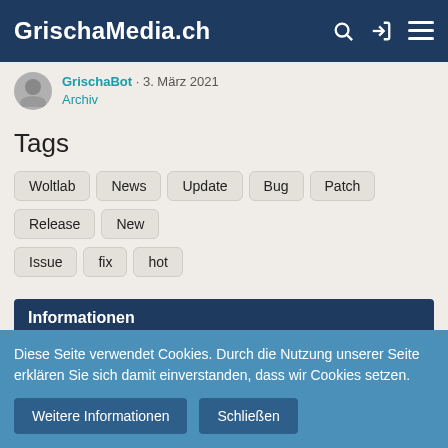GrischaMedia.ch
GrischaBot · 3. März 2021
Archiv
Tags
Woltlab
News
Update
Bug
Patch
Release
New
Issue
fix
hot
Informationen
Allgemeine Geschäftsbedingungen
Nutzungsbedingungen
Diese Seite verwendet Cookies. Durch die Nutzung unserer Seite erklären Sie sich damit einverstanden, dass wir Cookies setzen.
Weitere Informationen  Schließen